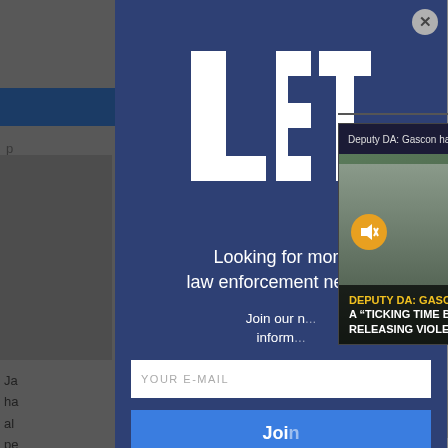[Figure (screenshot): Background webpage with gray content, blue navigation bar on left, and scrollbar on right. Text visible: 'enu', 'Ja', 'ha', 'al', 'pe', 'm']
[Figure (screenshot): Modal popup overlay with dark navy/blue background. Contains LET (Law Enforcement Today) logo at top in white, headline 'Looking for more law enforcement news?', subtext 'Join our n... inform...', email input field 'YOUR E-MAIL', and blue 'Joi...' button. Close X button in top right corner.]
[Figure (screenshot): Floating video popup in bottom right. Header: 'Deputy DA: Gascon has created a "ticki..." with X close button. Video thumbnail shows man speaking outdoors. Mute button icon (speaker with X). Caption text: 'DEPUTY DA: GASCON HAS CREATED A "TICKING TIME BOMB" BY RELEASING VIOLENT OFFENDERS' in yellow and white bold text.]